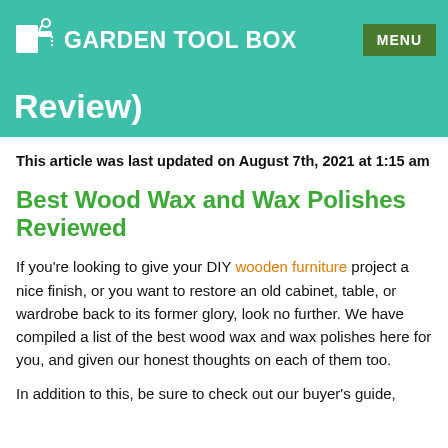GARDEN TOOL BOX    MENU
Review)
This article was last updated on August 7th, 2021 at 1:15 am
Best Wood Wax and Wax Polishes Reviewed
If you're looking to give your DIY wooden furniture project a nice finish, or you want to restore an old cabinet, table, or wardrobe back to its former glory, look no further. We have compiled a list of the best wood wax and wax polishes here for you, and given our honest thoughts on each of them too.
In addition to this, be sure to check out our buyer's guide,